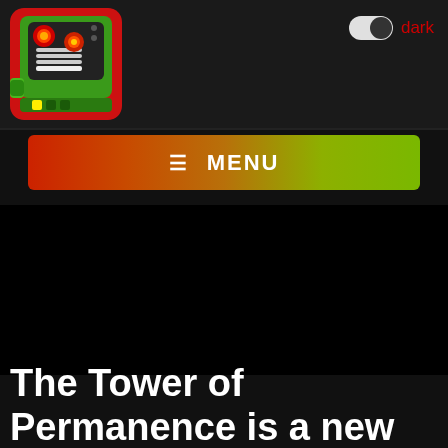[Figure (logo): Green robot/game character logo with red background, red glowing eyes, white keyboard-like panel]
dark
≡ MENU
The Tower of Permanence is a new video game every